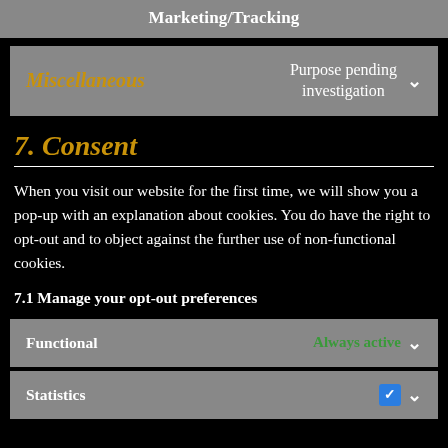Marketing/Tracking
Miscellaneous — Purpose pending investigation
7. Consent
When you visit our website for the first time, we will show you a pop-up with an explanation about cookies. You do have the right to opt-out and to object against the further use of non-functional cookies.
7.1 Manage your opt-out preferences
Functional — Always active
Statistics